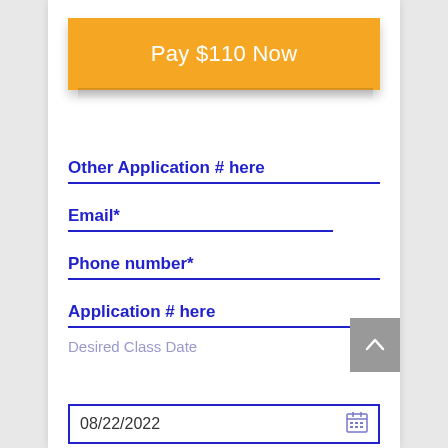Pay $110 Now
Other Application # here
Email*
Phone number*
Application # here
Desired Class Date
08/22/2022